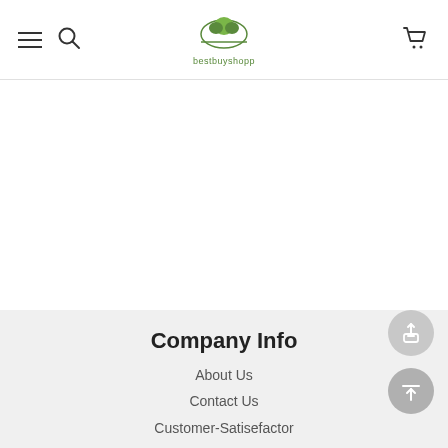bestbuyshopp navigation header with hamburger menu, search icon, logo, and cart icon
[Figure (screenshot): White content area — blank product/page body]
[Figure (other): Share floating action button (circle with upload/share icon)]
[Figure (other): Scroll-to-top floating action button (circle with up arrow icon)]
Company Info
About Us
Contact Us
Customer-Satisefactor
PayPal-Credit-Card-Payment